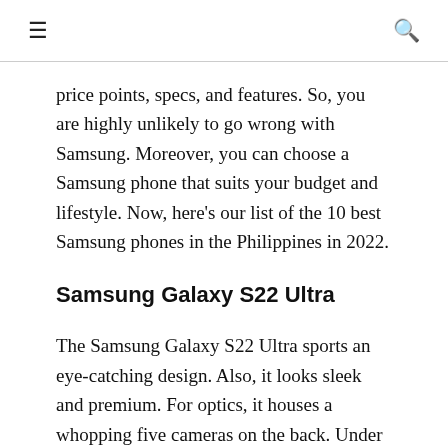≡  🔍
price points, specs, and features. So, you are highly unlikely to go wrong with Samsung. Moreover, you can choose a Samsung phone that suits your budget and lifestyle. Now, here's our list of the 10 best Samsung phones in the Philippines in 2022.
Samsung Galaxy S22 Ultra
The Samsung Galaxy S22 Ultra sports an eye-catching design. Also, it looks sleek and premium. For optics, it houses a whopping five cameras on the back. Under the hood,